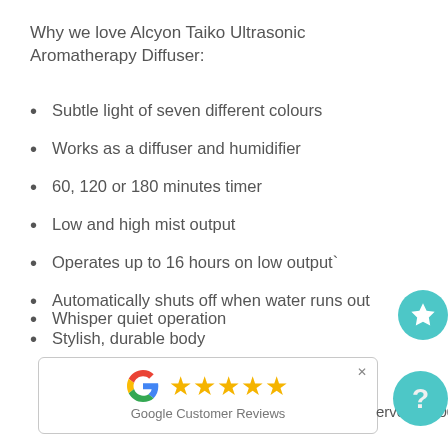Why we love Alcyon Taiko Ultrasonic Aromatherapy Diffuser:
Subtle light of seven different colours
Works as a diffuser and humidifier
60, 120 or 180 minutes timer
Low and high mist output
Operates up to 16 hours on low output`
Automatically shuts off when water runs out
Stylish, durable body
Whisper quiet operation
reservoir – 500ml
[Figure (other): Google Customer Reviews popup with 5 gold stars and Google G logo, with an X close button]
[Figure (other): Teal circular button with white star icon]
[Figure (other): Teal circular button with question mark]